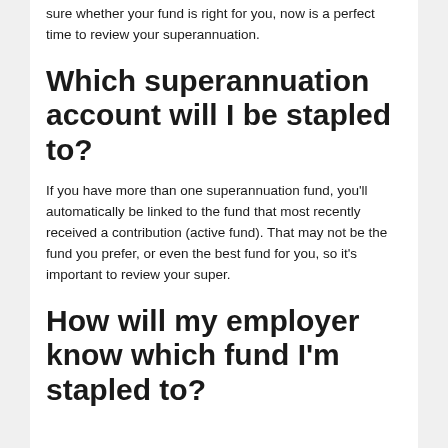sure whether your fund is right for you, now is a perfect time to review your superannuation.
Which superannuation account will I be stapled to?
If you have more than one superannuation fund, you'll automatically be linked to the fund that most recently received a contribution (active fund). That may not be the fund you prefer, or even the best fund for you, so it's important to review your super.
How will my employer know which fund I'm stapled to?